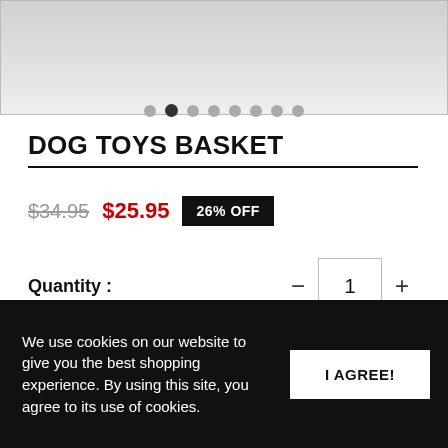[Figure (photo): Product photo of a dog toys basket, partially visible at top, gray colored]
DOG TOYS BASKET
$34.95  $25.95  26% OFF
Quantity : 1
Color : Gray
GRAY  BLACK
We use cookies on our website to give you the best shopping experience. By using this site, you agree to its use of cookies.